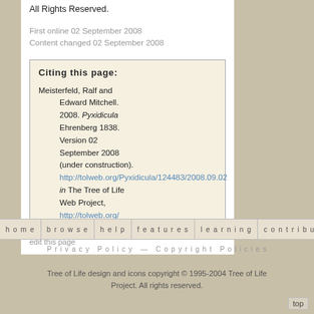All Rights Reserved.
First online 02 September 2008
Content changed 02 September 2008
Citing this page:
Meisterfeld, Ralf and Edward Mitchell. 2008. Pyxidicula Ehrenberg 1838. Version 02 September 2008 (under construction). http://tolweb.org/Pyxidicula/124483/2008.09.02 in The Tree of Life Web Project, http://tolweb.org/
edit this page
home   browse   help   features   learning   contribute   abo
Privacy Policy — Copyright Policies
Tree of Life design and icons copyright © 1995-2004 Tree of Life Project. All rights reserved.
top